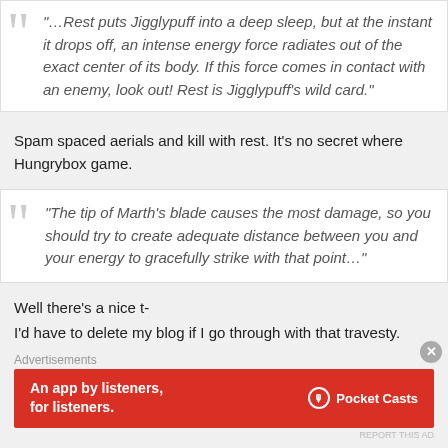“…Rest puts Jigglypuff into a deep sleep, but at the instant it drops off, an intense energy force radiates out of the exact center of its body. If this force comes in contact with an enemy, look out! Rest is Jigglypuff’s wild card.”
Spam spaced aerials and kill with rest. It's no secret where Hungrybox game.
“The tip of Marth’s blade causes the most damage, so you should try to create adequate distance between you and your energy to gracefully strike with that point…”
Well there’s a nice t-
I’d have to delete my blog if I go through with that travesty.
Advertisements
[Figure (infographic): Red advertisement banner for Pocket Casts app reading 'An app by listeners, for listeners.']